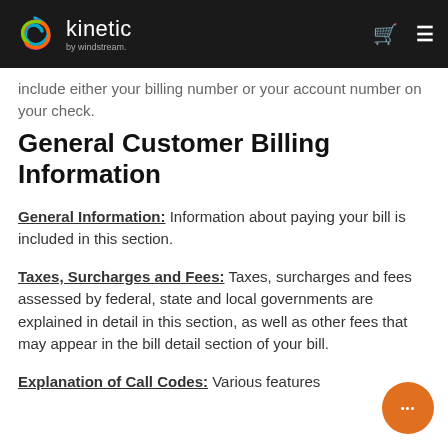kinetic by windstream
include either your billing number or your account number on your check.
General Customer Billing Information
General Information: Information about paying your bill is included in this section.
Taxes, Surcharges and Fees: Taxes, surcharges and fees assessed by federal, state and local governments are explained in detail in this section, as well as other fees that may appear in the bill detail section of your bill.
Explanation of Call Codes: Various features